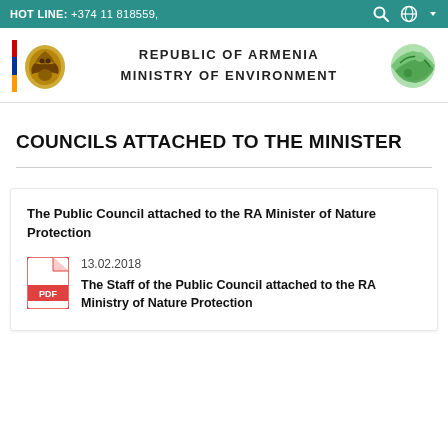HOT LINE: +374 11 818559,
[Figure (logo): Republic of Armenia coat of arms with Armenian tricolor flag bar and Ministry of Environment green globe logo]
REPUBLIC OF ARMENIA
MINISTRY OF ENVIRONMENT
COUNCILS ATTACHED TO THE MINISTER
The Public Council attached to the RA Minister of Nature Protection
13.02.2018
The Staff of the Public Council attached to the RA Ministry of Nature Protection